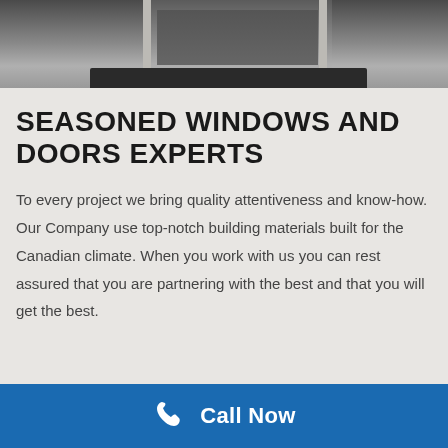[Figure (photo): Top-down or entrance view of a door/threshold area with a dark mat, showing flooring and door frame elements in grayscale tones]
SEASONED WINDOWS AND DOORS EXPERTS
To every project we bring quality attentiveness and know-how. Our Company use top-notch building materials built for the Canadian climate. When you work with us you can rest assured that you are partnering with the best and that you will get the best.
Call Now